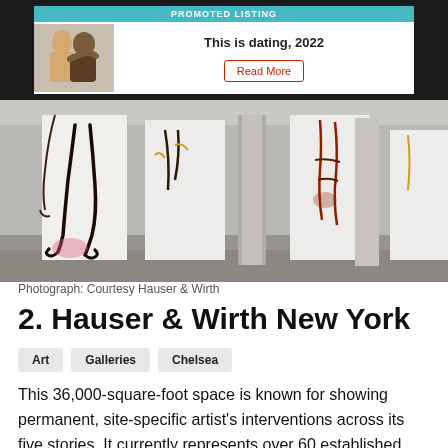[Figure (other): Promoted listing advertisement banner: teal header bar reading 'PROMOTED LISTING', photo of couple on left, text 'This is dating, 2022' and 'Read More' button on right]
[Figure (photo): Interior gallery photo of Hauser & Wirth New York showing white freestanding panels with large-scale drawings of legs/feet and hanging figures in a spacious gallery with concrete floors]
Photograph: Courtesy Hauser & Wirth
2. Hauser & Wirth New York
Art
Galleries
Chelsea
This 36,000-square-foot space is known for showing permanent, site-specific artist's interventions across its five stories. It currently represents over 60 established and emerging artists, including Mark Bradford, Christoph Büchel, Roni Horn, Paul McCarthy and Pipilotti Rist, and is